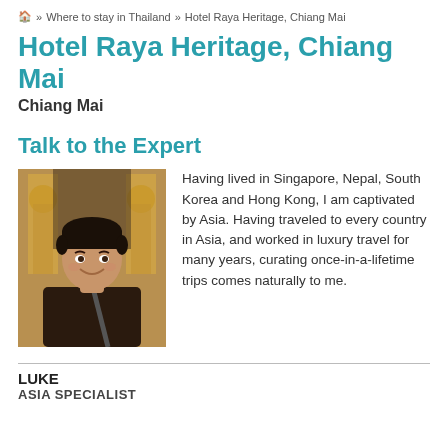🏠 » Where to stay in Thailand » Hotel Raya Heritage, Chiang Mai
Hotel Raya Heritage, Chiang Mai
Chiang Mai
Talk to the Expert
[Figure (photo): Portrait photo of Luke, a young man with dark hair wearing a dark shirt with a bag strap, photographed in front of ornate decorative architecture. He is smiling.]
Having lived in Singapore, Nepal, South Korea and Hong Kong, I am captivated by Asia. Having traveled to every country in Asia, and worked in luxury travel for many years, curating once-in-a-lifetime trips comes naturally to me.
LUKE
ASIA SPECIALIST